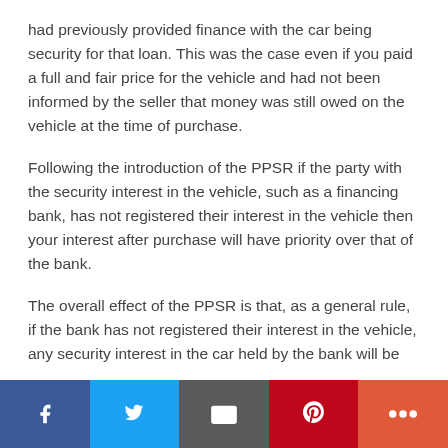had previously provided finance with the car being security for that loan. This was the case even if you paid a full and fair price for the vehicle and had not been informed by the seller that money was still owed on the vehicle at the time of purchase.
Following the introduction of the PPSR if the party with the security interest in the vehicle, such as a financing bank, has not registered their interest in the vehicle then your interest after purchase will have priority over that of the bank.
The overall effect of the PPSR is that, as a general rule, if the bank has not registered their interest in the vehicle, any security interest in the car held by the bank will be
[Figure (infographic): Social sharing bar with Facebook, Twitter, Email, Pinterest, and More (+) buttons]